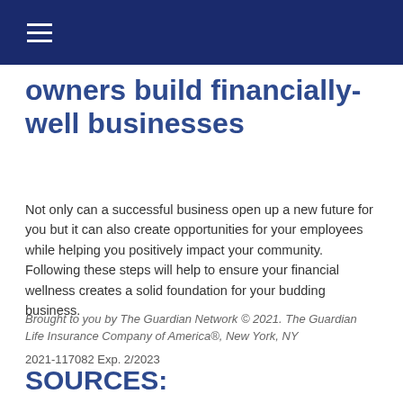owners build financially-well businesses
Not only can a successful business open up a new future for you but it can also create opportunities for your employees while helping you positively impact your community. Following these steps will help to ensure your financial wellness creates a solid foundation for your budding business.
Brought to you by The Guardian Network © 2021. The Guardian Life Insurance Company of America®, New York, NY

2021-117082 Exp. 2/2023
SOURCES: